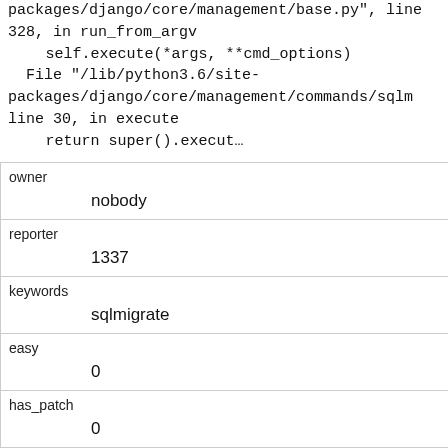packages/django/core/management/base.py", line 328, in run_from_argv
    self.execute(*args, **cmd_options)
  File "/lib/python3.6/site-packages/django/core/management/commands/sqlm line 30, in execute
    return super().execut…
| owner | nobody |
| reporter | 1337 |
| keywords | sqlmigrate |
| easy | 0 |
| has_patch | 0 |
| needs_better_patch | 0 |